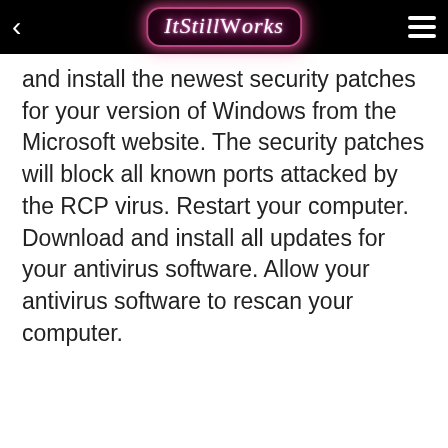ItStillWorks
and install the newest security patches for your version of Windows from the Microsoft website. The security patches will block all known ports attacked by the RCP virus. Restart your computer. Download and install all updates for your antivirus software. Allow your antivirus software to rescan your computer.